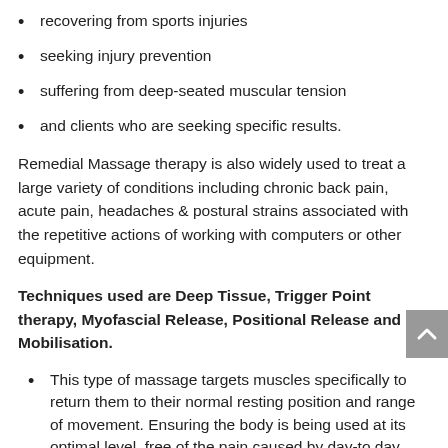recovering from sports injuries
seeking injury prevention
suffering from deep-seated muscular tension
and clients who are seeking specific results.
Remedial Massage therapy is also widely used to treat a large variety of conditions including chronic back pain, acute pain, headaches & postural strains associated with the repetitive actions of working with computers or other equipment.
Techniques used are Deep Tissue, Trigger Point therapy, Myofascial Release, Positional Release and Mobilisation.
This type of massage targets muscles specifically to return them to their normal resting position and range of movement. Ensuring the body is being used at its optimal level, free of the pain caused by day-to day activities, and aiming to prevent further injury.